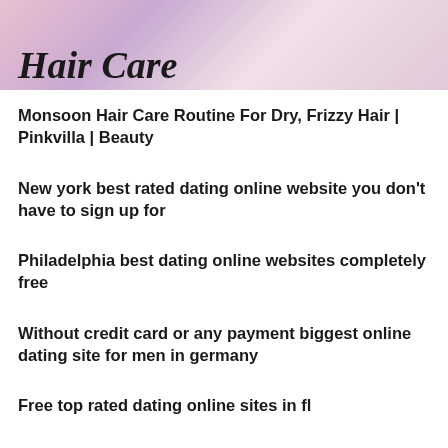[Figure (photo): Hair Care promotional banner image with stylized 'Hair Care' text and a woman with long brown hair holding a hair styling tool, colorful background]
Monsoon Hair Care Routine For Dry, Frizzy Hair | Pinkvilla | Beauty
New york best rated dating online website you don't have to sign up for
Philadelphia best dating online websites completely free
Without credit card or any payment biggest online dating site for men in germany
Free top rated dating online sites in fl
Sex historie mia gundersen porno